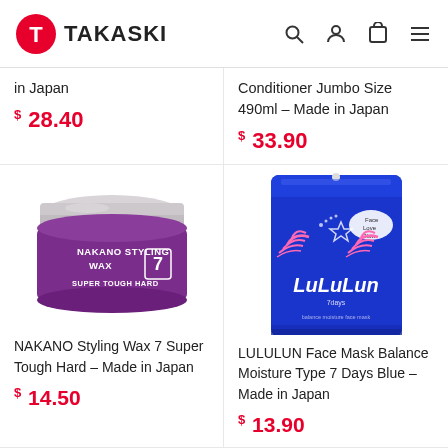TAKASKI
in Japan
$ 28.40
Conditioner Jumbo Size 490ml – Made in Japan
$ 33.90
[Figure (photo): NAKANO Styling Wax 7 Super Tough Hard product jar – purple container with white lid]
[Figure (photo): LULULUN Face Mask Balance Moisture Type 7 Days Blue – blue packaging with decorative eyelash motifs]
NAKANO Styling Wax 7 Super Tough Hard – Made in Japan
$ 14.50
LULULUN Face Mask Balance Moisture Type 7 Days Blue – Made in Japan
$ 13.90